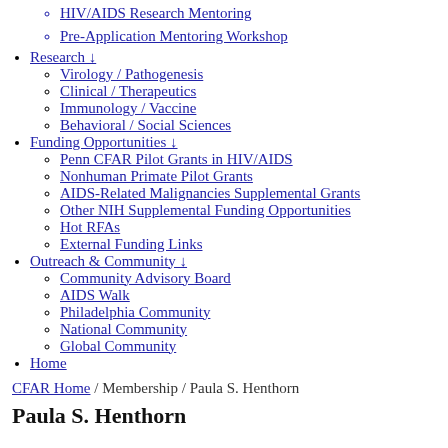HIV/AIDS Research Mentoring
Pre-Application Mentoring Workshop
Research ↓
Virology / Pathogenesis
Clinical / Therapeutics
Immunology / Vaccine
Behavioral / Social Sciences
Funding Opportunities ↓
Penn CFAR Pilot Grants in HIV/AIDS
Nonhuman Primate Pilot Grants
AIDS-Related Malignancies Supplemental Grants
Other NIH Supplemental Funding Opportunities
Hot RFAs
External Funding Links
Outreach & Community ↓
Community Advisory Board
AIDS Walk
Philadelphia Community
National Community
Global Community
Home
CFAR Home / Membership / Paula S. Henthorn
Paula S. Henthorn